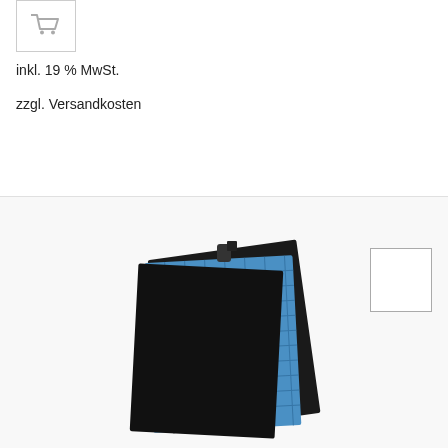[Figure (illustration): Shopping cart icon in a bordered box]
inkl. 19 % MwSt.
zzgl. Versandkosten
[Figure (photo): Product photo showing stacked air filter panels with black frame and blue mesh, displayed in a white/light grey background area]
[Figure (illustration): Empty white bordered thumbnail box in lower right area]